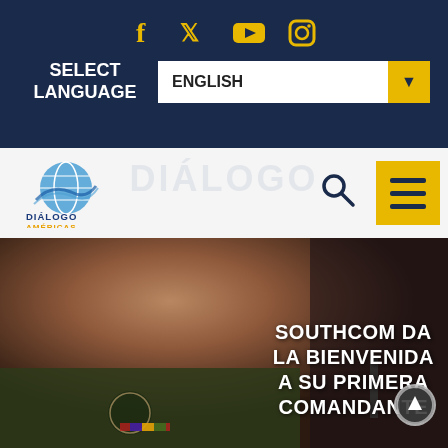Social media icons: Facebook, Twitter, YouTube, Instagram
SELECT LANGUAGE — ENGLISH (dropdown)
[Figure (screenshot): Diálogo Américas website navigation bar with logo, search icon, and hamburger menu on yellow background]
[Figure (photo): Female military officer in US Army uniform with 101st Airborne Division patch, smiling, with overlay text: SOUTHCOM DA LA BIENVENIDA A SU PRIMERA COMANDANTE]
SOUTHCOM DA LA BIENVENIDA A SU PRIMERA COMANDANTE